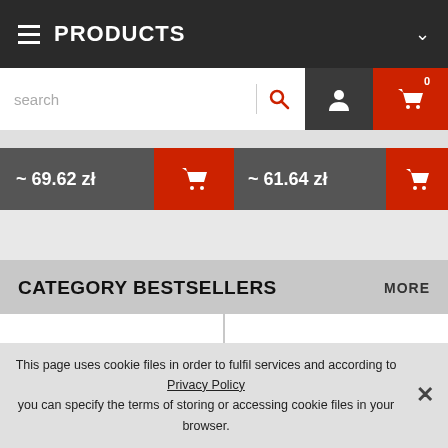PRODUCTS
[Figure (screenshot): Search bar with search icon, user account icon, and shopping cart icon showing 0 items]
~ 69.62 zł
~ 61.64 zł
CATEGORY BESTSELLERS
MORE
[Figure (illustration): Two product card thumbnails partially visible at bottom]
This page uses cookie files in order to fulfil services and according to Privacy Policy you can specify the terms of storing or accessing cookie files in your browser.